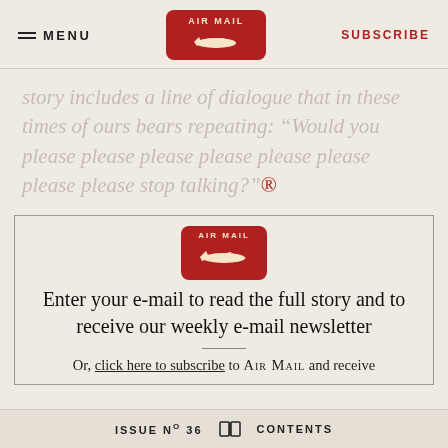MENU | AIR MAIL | SUBSCRIBE
story includes a line of dialogue that in these times of ours bears repeating: “Would you please please please please please please please please stop talking?”®
[Figure (logo): Air Mail red badge logo with airplane silhouette]
Enter your e-mail to read the full story and to receive our weekly e-mail newsletter
Or, click here to subscribe to AIR MAIL and receive
ISSUE No 36  [book icon]  CONTENTS